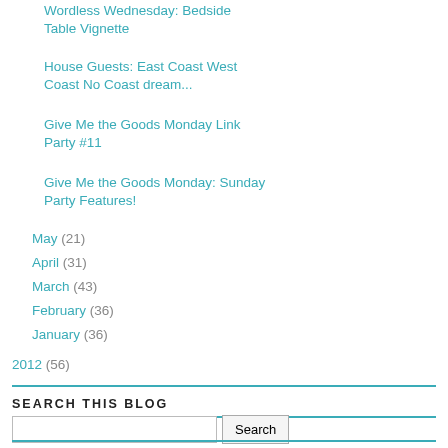Wordless Wednesday: Bedside Table Vignette
House Guests: East Coast West Coast No Coast dream...
Give Me the Goods Monday Link Party #11
Give Me the Goods Monday: Sunday Party Features!
May (21)
April (31)
March (43)
February (36)
January (36)
2012 (56)
SEARCH THIS BLOG
GRAB MY BUTTON